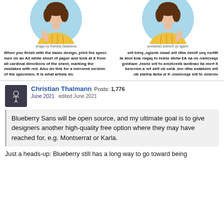[Figure (illustration): Illustration of a girl in yellow dress with blue background, left side]
Image by Romina Zaharieva
[Figure (illustration): Mirror image of girl in yellow dress with blue background, right side (mirrored)]
Image by Romina Zaharieva (mirrored)
When you finish with the basic design, print the specimen on an A3 white sheet of paper and look at it from all cardinal directions of the sheet, marking the mistakes with red. Also do this for a mirrored version of the specimen. It is what artists do.
When you finish with the basic design, print the specimen on an A3 white sheet of paper and look at it from all cardinal directions of the sheet, marking the mistakes with red. Also do this for a mirrored version of the specimen. It is what artists do. (mirrored/reversed)
Christian Thalmann Posts: 1,776
June 2021  edited June 2021
Blueberry Sans will be open source, and my ultimate goal is to give designers another high-quality free option where they may have reached for, e.g. Montserrat or Karla.
Just a heads-up: Blueberry still has a long way to go toward being